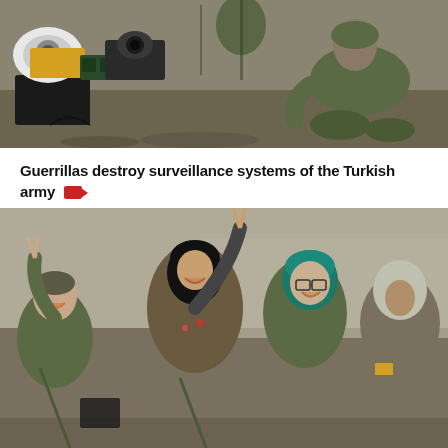[Figure (photo): Photo of guerrillas with surveillance/camera equipment on the left and a soldier crouching on the right, outdoor setting]
Guerrillas destroy surveillance systems of the Turkish army 🎥
[Figure (photo): Group of female YPJ fighters in military fatigues celebrating, making peace signs, smiling. Reuters photo.]
Five Turkish-backed mercenaries killed in YPJ retaliatory action 🎥